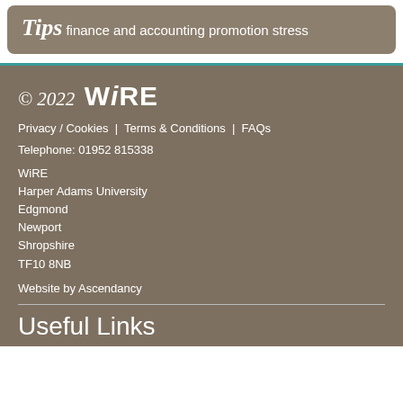Tips finance and accounting promotion stress
© 2022 WiRE
Privacy / Cookies | Terms & Conditions | FAQs
Telephone: 01952 815338
WiRE
Harper Adams University
Edgmond
Newport
Shropshire
TF10 8NB
Website by Ascendancy
Useful Links